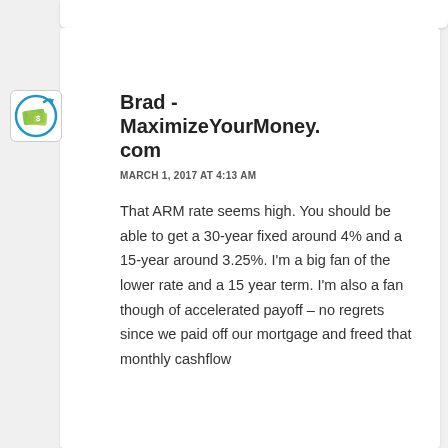Brad - MaximizeYourMoney.com
MARCH 1, 2017 AT 4:13 AM
That ARM rate seems high. You should be able to get a 30-year fixed around 4% and a 15-year around 3.25%. I'm a big fan of the lower rate and a 15 year term. I'm also a fan though of accelerated payoff – no regrets since we paid off our mortgage and freed that monthly cashflow